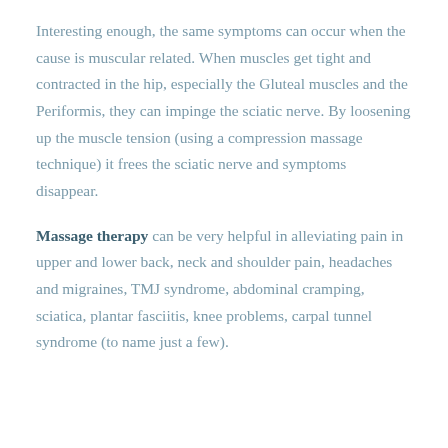Interesting enough, the same symptoms can occur when the cause is muscular related. When muscles get tight and contracted in the hip, especially the Gluteal muscles and the Periformis, they can impinge the sciatic nerve. By loosening up the muscle tension (using a compression massage technique) it frees the sciatic nerve and symptoms disappear.
Massage therapy can be very helpful in alleviating pain in upper and lower back, neck and shoulder pain, headaches and migraines, TMJ syndrome, abdominal cramping, sciatica, plantar fasciitis, knee problems, carpal tunnel syndrome (to name just a few).